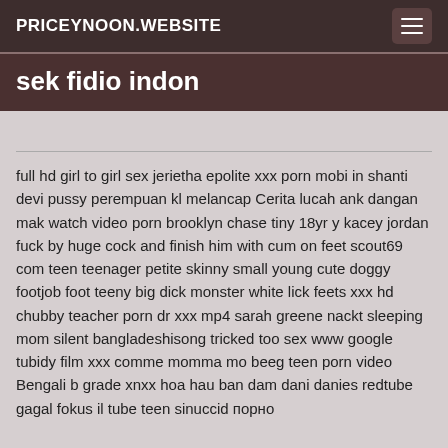PRICEYNOON.WEBSITE
sek fidio indon
full hd girl to girl sex jerietha epolite xxx porn mobi in shanti devi pussy perempuan kl melancap Cerita lucah ank dangan mak watch video porn brooklyn chase tiny 18yr y kacey jordan fuck by huge cock and finish him with cum on feet scout69 com teen teenager petite skinny small young cute doggy footjob foot teeny big dick monster white lick feets xxx hd chubby teacher porn dr xxx mp4 sarah greene nackt sleeping mom silent bangladeshisong tricked too sex www google tubidy film xxx comme momma mo beeg teen porn video Bengali b grade xnxx hoa hau ban dam dani danies redtube gagal fokus il tube teen sinuccid порно